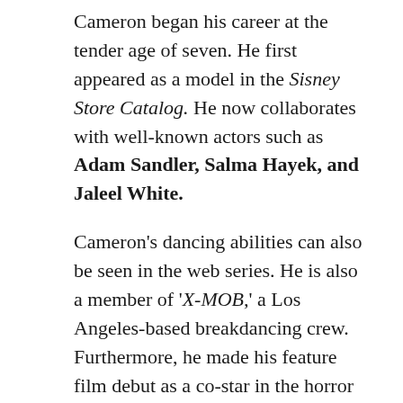Cameron began his career at the tender age of seven. He first appeared as a model in the Sisney Store Catalog. He now collaborates with well-known actors such as Adam Sandler, Salma Hayek, and Jaleel White.
Cameron's dancing abilities can also be seen in the web series. He is also a member of 'X-MOB,' a Los Angeles-based breakdancing crew. Furthermore, he made his feature film debut as a co-star in the horror film Mirror.
As well as in the thriller film Eagle Eye. In September 2011, he was cast as a co-star on the Disney Channel comedy series Jessie. Later, he was cast as Carlos, Cruella de Vil's son, in Disney's Descendants (2015).